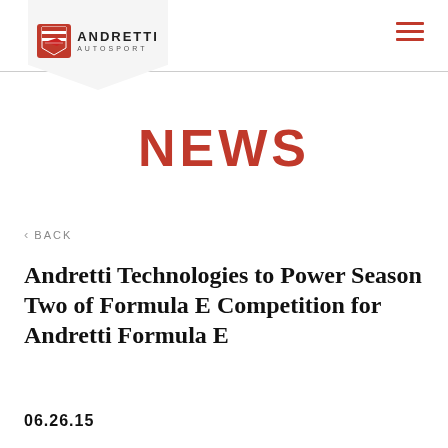ANDRETTI AUTOSPORT
NEWS
< BACK
Andretti Technologies to Power Season Two of Formula E Competition for Andretti Formula E
06.26.15